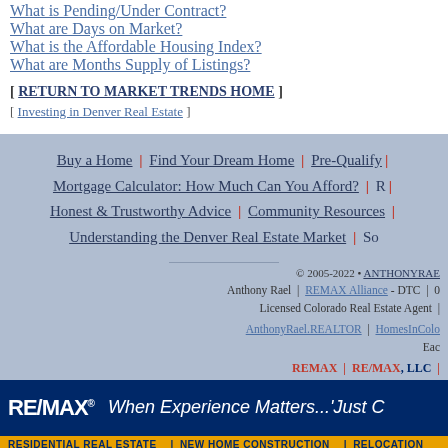What is Pending/Under Contract?
What are Days on Market?
What is the Affordable Housing Index?
What are Months Supply of Listings?
[ RETURN TO MARKET TRENDS HOME ]
[ Investing in Denver Real Estate ]
Buy a Home | Find Your Dream Home | Pre-Qualify | Mortgage Calculator: How Much Can You Afford? | R | Honest & Trustworthy Advice | Community Resources | Understanding the Denver Real Estate Market | So
© 2005-2022 • ANTHONYRAE
Anthony Rael | REMAX Alliance - DTC | Licensed Colorado Real Estate Agent
AnthonyRael.REALTOR | HomesInColo | Eac
REMAX | RE/MAX, LLC |
[Figure (logo): RE/MAX banner with logo and tagline 'When Experience Matters...'Just C' and subbanner with RESIDENTIAL REAL ESTATE | NEW HOME CONSTRUCTION | RELOCATION]